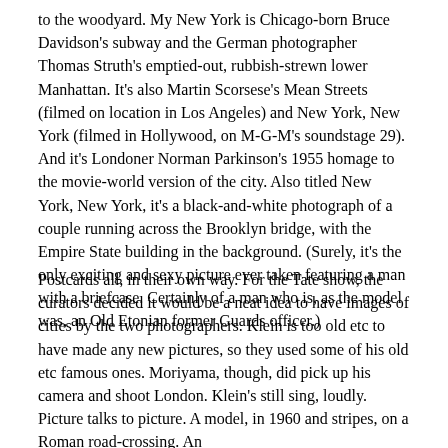to the woodyard. My New York is Chicago-born Bruce Davidson's subway and the German photographer Thomas Struth's emptied-out, rubbish-strewn lower Manhattan. It's also Martin Scorsese's Mean Streets (filmed on location in Los Angeles) and New York, New York (filmed in Hollywood, on M-G-M's soundstage 29). And it's Londoner Norman Parkinson's 1955 homage to the movie-world version of the city. Also titled New York, New York, it's a black-and-white photograph of a couple running across the Brooklyn bridge, with the Empire State building in the background. (Surely, it's the only exciting and sexy picture ever taken featuring a man with a briefcase. Certainly of a man who is, as the model was, an Old Etonian former Guards officer.)
Postcards all, in their own way. For the Tate show, the curators decided it would be a neat idea to have images of cities by the two photographers. Klein is too old etc to have made any new pictures, so they used some of his old etc famous ones. Moriyama, though, did pick up his camera and shoot London. Klein's still sing, loudly. Picture talks to picture. A model, in 1960 and stripes, on a Roman road-crossing. An